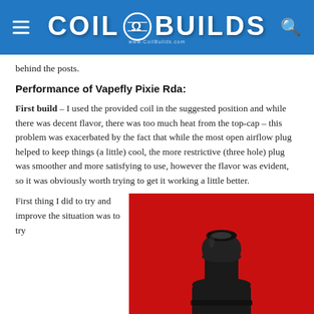COIL BUILDS
behind the posts.
Performance of Vapefly Pixie Rda:
First build – I used the provided coil in the suggested position and while there was decent flavor, there was too much heat from the top-cap – this problem was exacerbated by the fact that while the most open airflow plug helped to keep things (a little) cool, the more restrictive (three hole) plug was smoother and more satisfying to use, however the flavor was evident, so it was obviously worth trying to get it working a little better.
First thing I did to try and improve the situation was to try
[Figure (photo): Photo of a black drip tip/top-cap against a red background]